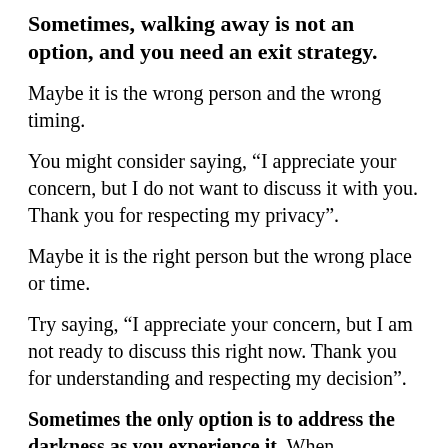Sometimes, walking away is not an option, and you need an exit strategy.
Maybe it is the wrong person and the wrong timing.
You might consider saying, “I appreciate your concern, but I do not want to discuss it with you. Thank you for respecting my privacy”.
Maybe it is the right person but the wrong place or time.
Try saying, “I appreciate your concern, but I am not ready to discuss this right now. Thank you for understanding and respecting my decision”.
Sometimes the only option is to address the darkness as you experience it. When